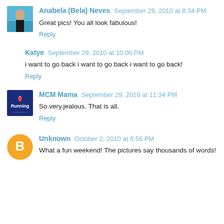Anabela (Bela) Neves  September 29, 2010 at 8:34 PM
Great pics! You all look fabulous!
Reply
Katye  September 29, 2010 at 10:00 PM
i want to go back i want to go back i want to go back!
Reply
MCM Mama  September 29, 2010 at 11:34 PM
So.very.jealous. That is all.
Reply
Unknown  October 2, 2010 at 6:56 PM
What a fun weekend! The pictures say thousands of words!